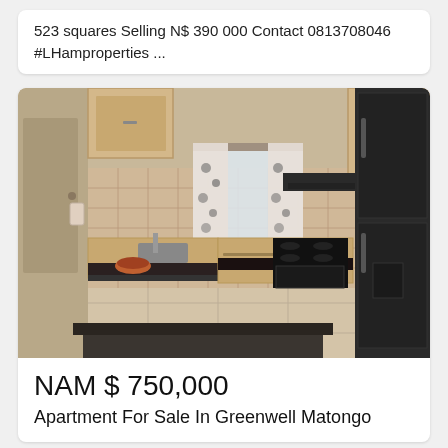523 squares Selling N$ 390 000 Contact 0813708046 #LHamproperties ...
[Figure (photo): Interior photo of a kitchen with wooden cabinets, black stove/oven, black refrigerator, tiled walls and floor, and a window with patterned curtains.]
NAM $ 750,000
Apartment For Sale In Greenwell Matongo